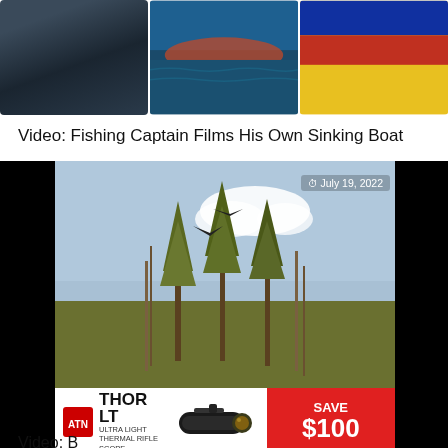[Figure (photo): Three images side by side: a boat hull near water, open ocean with red/orange reflection, and colorful fabric]
Video: Fishing Captain Films His Own Sinking Boat
[Figure (photo): Video player showing trees/forest scene with date badge 'July 19, 2022' in top right and close X button; ad bar at bottom for ATN Thor LT thermal rifle scope showing SAVE $100]
Video: B...